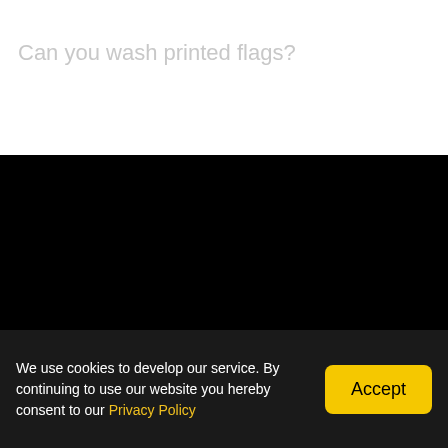Can you wash printed flags?
Contact
Metroprint Systems OÜ
Tuulikutee 4C
We use cookies to develop our service. By continuing to use our website you hereby consent to our Privacy Policy